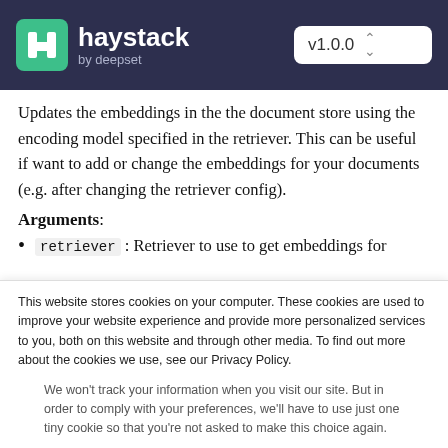haystack by deepset — v1.0.0
Updates the embeddings in the the document store using the encoding model specified in the retriever. This can be useful if want to add or change the embeddings for your documents (e.g. after changing the retriever config).
Arguments:
retriever : Retriever to use to get embeddings for
This website stores cookies on your computer. These cookies are used to improve your website experience and provide more personalized services to you, both on this website and through other media. To find out more about the cookies we use, see our Privacy Policy.
We won't track your information when you visit our site. But in order to comply with your preferences, we'll have to use just one tiny cookie so that you're not asked to make this choice again.